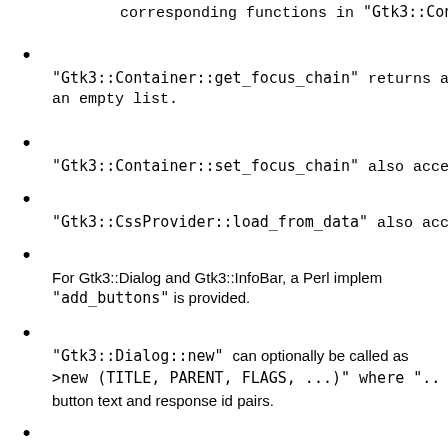corresponding functions in "Gtk3::ContainerCla
"Gtk3::Container::get_focus_chain" returns a an empty list.
"Gtk3::Container::set_focus_chain" also acce
"Gtk3::CssProvider::load_from_data" also acc
For Gtk3::Dialog and Gtk3::InfoBar, a Perl implem "add_buttons" is provided.
"Gtk3::Dialog::new" can optionally be called as >new (TITLE, PARENT, FLAGS, ...)" where ".. button text and response id pairs.
A Perl implementation of "Gtk3::Dialog::new_w provided.
The "length" argument of "Gtk3::Editable::in